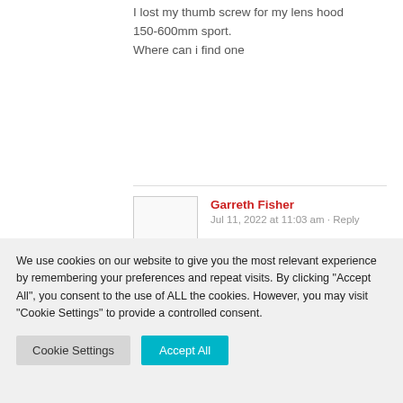I lost my thumb screw for my lens hood
150-600mm sport.
Where can i find one
Garreth Fisher
Jul 11, 2022 at 11:03 am · Reply
Good day, Jaco.
We use cookies on our website to give you the most relevant experience by remembering your preferences and repeat visits. By clicking "Accept All", you consent to the use of ALL the cookies. However, you may visit "Cookie Settings" to provide a controlled consent.